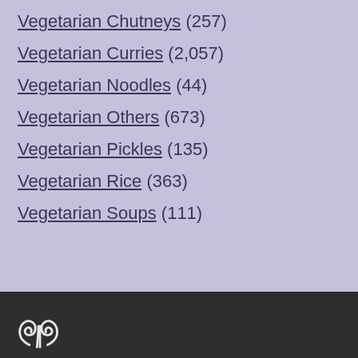Vegetarian Chutneys (257)
Vegetarian Curries (2,057)
Vegetarian Noodles (44)
Vegetarian Others (673)
Vegetarian Pickles (135)
Vegetarian Rice (363)
Vegetarian Soups (111)
[Figure (logo): Decorative swirl/scroll logo in white on dark footer]